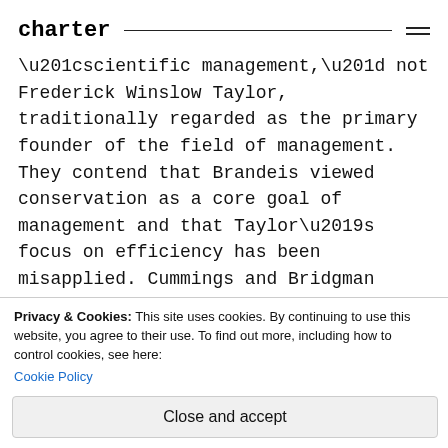charter
“scientific management,” not Frederick Winslow Taylor, traditionally regarded as the primary founder of the field of management. They contend that Brandeis viewed conservation as a core goal of management and that Taylor’s focus on efficiency has been misapplied. Cummings and Bridgman further argue that Mary Parker Follett, a contemporary who was a writer and social activist, should join Brandeis and Taylor in getting credit for establishing the field.
Privacy & Cookies: This site uses cookies. By continuing to use this website, you agree to their use. To find out more, including how to control cookies, see here: Cookie Policy
Close and accept